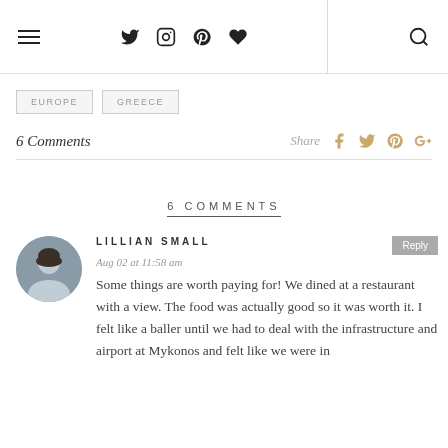Navigation bar with hamburger menu, social icons (Twitter, Instagram, Pinterest, heart), divider, search icon
EUROPE
GREECE
6 Comments  Share
6 COMMENTS
LILLIAN SMALL
Aug 02 at 11:58 am
Some things are worth paying for! We dined at a restaurant with a view. The food was actually good so it was worth it. I felt like a baller until we had to deal with the infrastructure and airport at Mykonos and felt like we were in